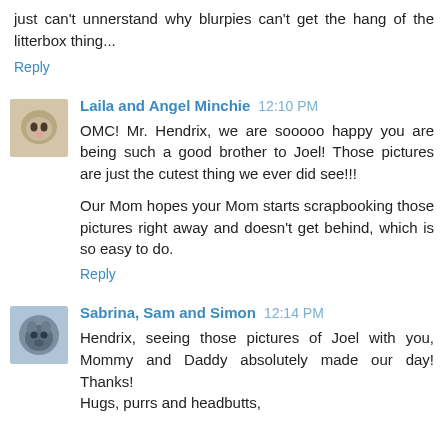just can't unnerstand why blurpies can't get the hang of the litterbox thing...
Reply
Laila and Angel Minchie  12:10 PM
OMC! Mr. Hendrix, we are sooooo happy you are being such a good brother to Joel! Those pictures are just the cutest thing we ever did see!!!
Our Mom hopes your Mom starts scrapbooking those pictures right away and doesn't get behind, which is so easy to do.
Reply
Sabrina, Sam and Simon  12:14 PM
Hendrix, seeing those pictures of Joel with you, Mommy and Daddy absolutely made our day! Thanks!
Hugs, purrs and headbutts,